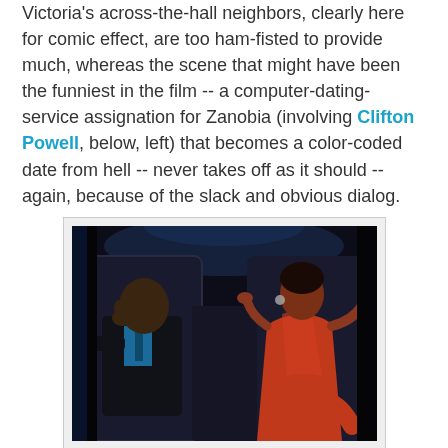Victoria's across-the-hall neighbors, clearly here for comic effect, are too ham-fisted to provide much, whereas the scene that might have been the funniest in the film -- a computer-dating-service assignation for Zanobia (involving Clifton Powell, below, left) that becomes a color-coded date from hell -- never takes off as it should -- again, because of the slack and obvious dialog.
[Figure (photo): A man in a dark suit and a woman in an orange/red dress sitting apart in what appears to be the back of a limousine, both looking away from each other. The scene is dimly lit with blue tones.]
Toward the finale, things get wrapped up in the style of decent melodrama that is, if typical, at least a step up from the labored, forced-cohabitation comedy/bathos concoctions of Tyler Perry, with religion thankfully kept to a minimum. If an easy-out is provided for everyone (except, of course, that